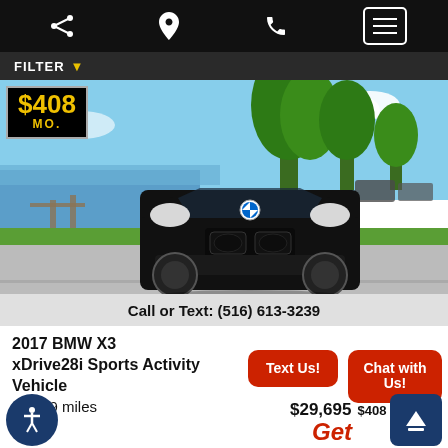Navigation bar with share, location, phone, and menu icons
FILTER
[Figure (photo): Black BMW X3 parked near a waterfront with trees in background, sunny day. Price badge showing $408 MO. overlaid on top left. Bottom bar shows: Call or Text: (516) 613-3239]
2017 BMW X3 xDrive28i Sports Activity Vehicle
30,019 miles
Text Us!
Chat with Us!
$29,695 $408 Monthly
Accessibility button and scroll-to-top button